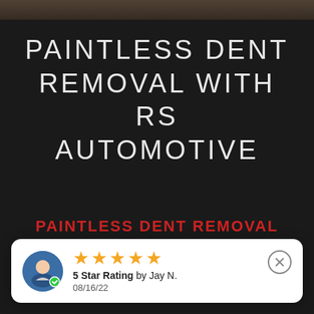[Figure (photo): Dark background with a thin dark brownish image strip at the top]
PAINTLESS DENT REMOVAL WITH RS AUTOMOTIVE
PAINTLESS DENT REMOVAL
Paintless Dent Removal has quickly become the most highly efficient and practical
[Figure (infographic): Review card with 5 gold stars, avatar icon, 5 Star Rating by Jay N., date 08/16/22, and close button]